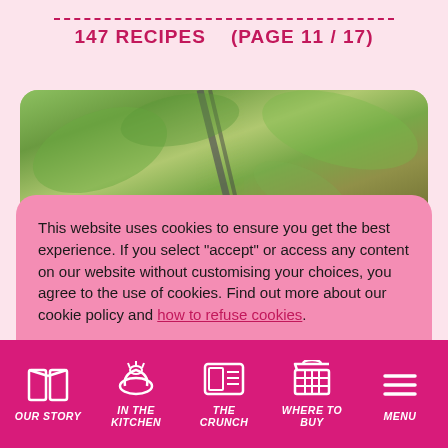147 RECIPES   (PAGE 11 / 17)
[Figure (photo): Food photograph showing green leafy vegetables at top and colorful cooked food dish at bottom, partially obscured by cookie consent overlay]
This website uses cookies to ensure you get the best experience. If you select "accept" or access any content on our website without customising your choices, you agree to the use of cookies. Find out more about our cookie policy and how to refuse cookies.
Accept
OUR STORY   IN THE KITCHEN   THE CRUNCH   WHERE TO BUY   MENU